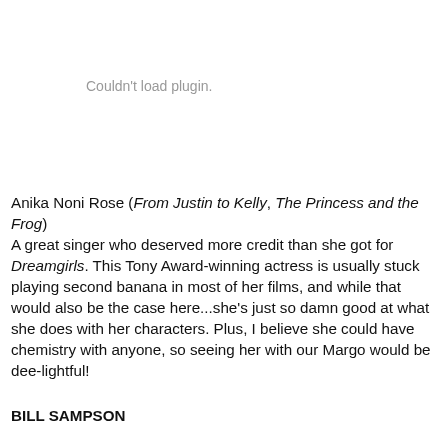Couldn't load plugin.
Anika Noni Rose (From Justin to Kelly, The Princess and the Frog)
A great singer who deserved more credit than she got for Dreamgirls. This Tony Award-winning actress is usually stuck playing second banana in most of her films, and while that would also be the case here...she's just so damn good at what she does with her characters. Plus, I believe she could have chemistry with anyone, so seeing her with our Margo would be dee-lightful!
BILL SAMPSON